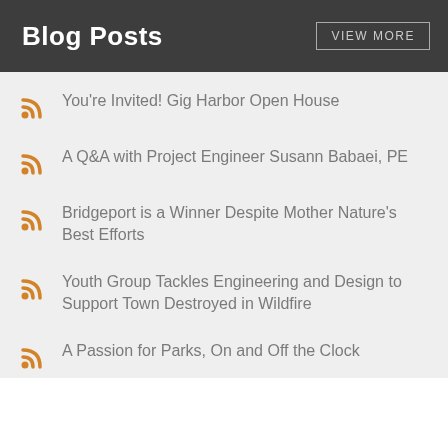Blog Posts
You're Invited! Gig Harbor Open House
A Q&A with Project Engineer Susann Babaei, PE
Bridgeport is a Winner Despite Mother Nature's Best Efforts
Youth Group Tackles Engineering and Design to Support Town Destroyed in Wildfire
A Passion for Parks, On and Off the Clock